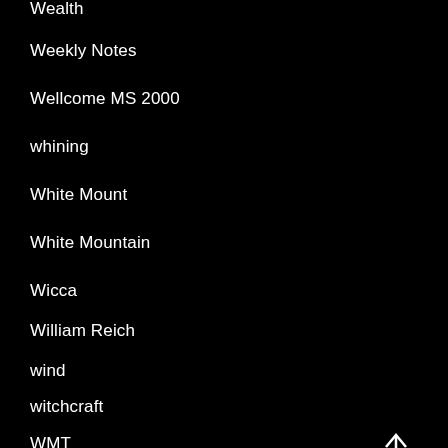Wealth
Weekly Notes
Wellcome MS 2000
whining
White Mount
White Mountain
Wicca
William Reich
wind
witchcraft
WMT
Wordsworth